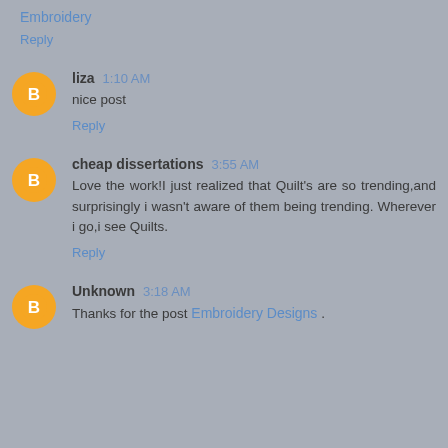Embroidery
Reply
liza 1:10 AM
nice post
Reply
cheap dissertations 3:55 AM
Love the work!I just realized that Quilt's are so trending,and surprisingly i wasn't aware of them being trending. Wherever i go,i see Quilts.
Reply
Unknown 3:18 AM
Thanks for the post Embroidery Designs .